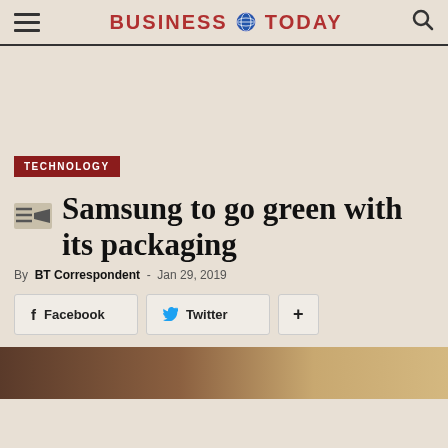BUSINESS TODAY
TECHNOLOGY
Samsung to go green with its packaging
By BT Correspondent - Jan 29, 2019
Facebook  Twitter  +
[Figure (photo): Bottom portion of an image, dark brown tones, bottom of page]